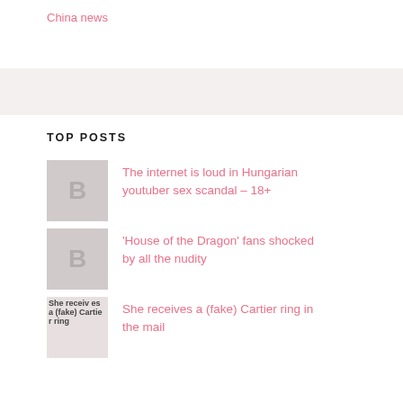China news
TOP POSTS
The internet is loud in Hungarian youtuber sex scandal – 18+
'House of the Dragon' fans shocked by all the nudity
She receives a (fake) Cartier ring in the mail